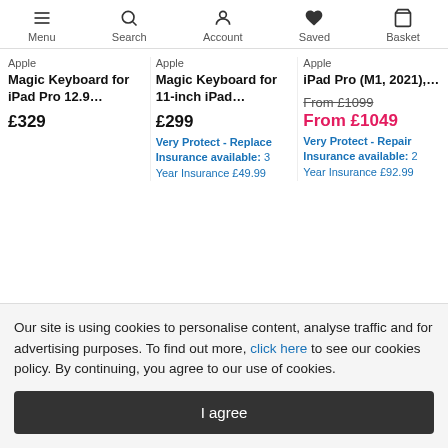Menu | Search | Account | Saved | Basket
Apple
Magic Keyboard for iPad Pro 12.9...
£329
Apple
Magic Keyboard for 11-inch iPad...
£299
Very Protect - Replace Insurance available: 3 Year Insurance £49.99
Apple
iPad Pro (M1, 2021),...
From £1099
From £1049
Very Protect - Repair Insurance available: 2 Year Insurance £92.99
Our site is using cookies to personalise content, analyse traffic and for advertising purposes. To find out more, click here to see our cookies policy. By continuing, you agree to our use of cookies.
I agree